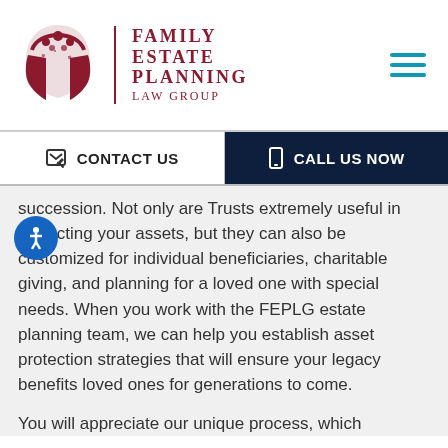[Figure (logo): Family Estate Planning Law Group logo with stylized tree/figure icon in dark red, vertical divider, and firm name in uppercase serif text]
[Figure (other): Hamburger menu icon (three horizontal teal lines) in top right corner]
[Figure (other): Navigation bar with CONTACT US button (left, white background, pencil icon) and CALL US NOW button (right, dark navy background, phone icon)]
succession. Not only are Trusts extremely useful in protecting your assets, but they can also be customized for individual beneficiaries, charitable giving, and planning for a loved one with special needs. When you work with the FEPLG estate planning team, we can help you establish asset protection strategies that will ensure your legacy benefits loved ones for generations to come.
You will appreciate our unique process, which